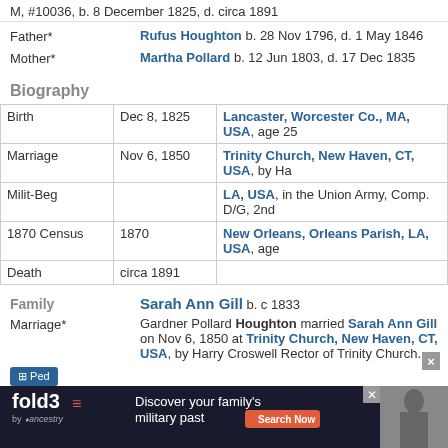M, #10036, b. 8 December 1825, d. circa 1891
Father* Rufus Houghton b. 28 Nov 1796, d. 1 May 1846
Mother* Martha Pollard b. 12 Jun 1803, d. 17 Dec 1835
Biography
| Event | Date | Location |
| --- | --- | --- |
| Birth | Dec 8, 1825 | Lancaster, Worcester Co., MA, USA, age 25 |
| Marriage | Nov 6, 1850 | Trinity Church, New Haven, CT, USA, by Ha… |
| Milit-Beg |  | LA, USA, in the Union Army, Comp. D/G, 2nd… |
| 1870 Census | 1870 | New Orleans, Orleans Parish, LA, USA, age… |
| Death | circa 1891 |  |
Family
Sarah Ann Gill b. c 1833
Marriage* Gardner Pollard Houghton married Sarah Ann Gill on Nov 6, 1850 at Trinity Church, New Haven, CT, USA, by Harry Croswell Rector of Trinity Church.
Child
[Figure (infographic): Fold3 by Ancestry advertisement banner: Discover your family's military past. Search Now button. Civil War soldier photo on right.]